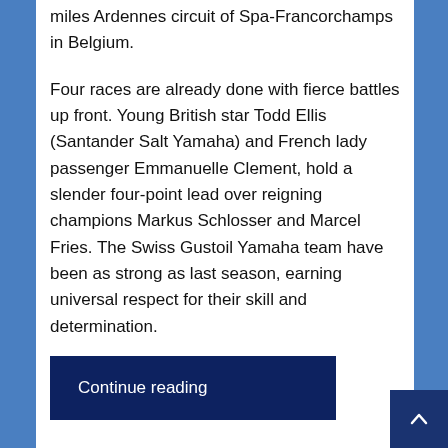miles Ardennes circuit of Spa-Francorchamps in Belgium.
Four races are already done with fierce battles up front. Young British star Todd Ellis (Santander Salt Yamaha) and French lady passenger Emmanuelle Clement, hold a slender four-point lead over reigning champions Markus Schlosser and Marcel Fries. The Swiss Gustoil Yamaha team have been as strong as last season, earning universal respect for their skill and determination.
Continue reading
Please do share this:
Tweet
Telegram
WhatsApp
Email
More